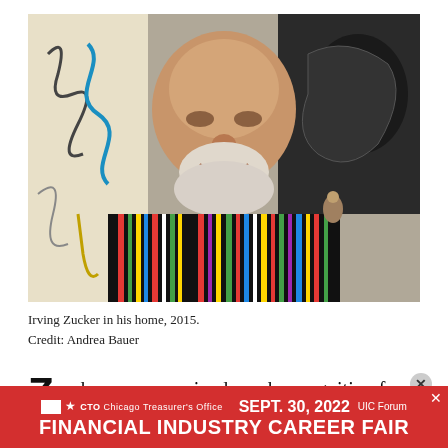[Figure (photo): Photograph of Irving Zucker, an older bald man with a white beard, smiling and wearing a colorful striped shirt, seated in front of artwork on walls, taken in 2015.]
Irving Zucker in his home, 2015.
Credit: Andrea Bauer
ucker never received much recognition for
[Figure (other): Advertisement banner for Financial Industry Career Fair. CTO Chicago Treasurer's Office. SEPT. 30, 2022. UIC Forum.]